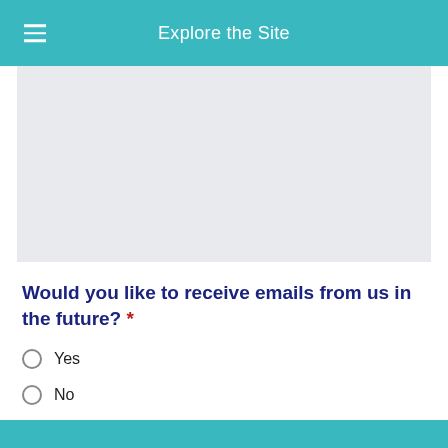Explore the Site
[Figure (other): Light gray empty text area input box]
Would you like to receive emails from us in the future?  *
Yes
No
Submit